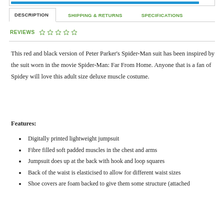[progress bar top area]
DESCRIPTION | SHIPPING & RETURNS | SPECIFICATIONS
REVIEWS ☆☆☆☆☆
This red and black version of Peter Parker's Spider-Man suit has been inspired by the suit worn in the movie Spider-Man: Far From Home. Anyone that is a fan of Spidey will love this adult size deluxe muscle costume.
Features:
Digitally printed lightweight jumpsuit
Fibre filled soft padded muscles in the chest and arms
Jumpsuit does up at the back with hook and loop squares
Back of the waist is elasticised to allow for different waist sizes
Shoe covers are foam backed to give them some structure (attached